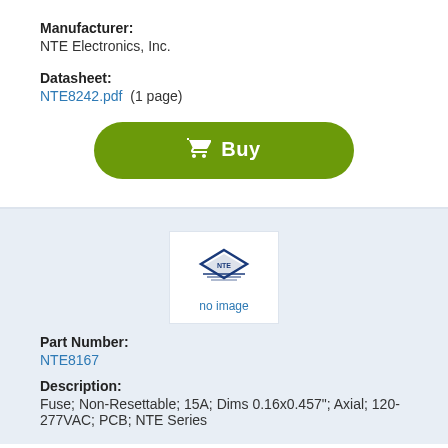Manufacturer: NTE Electronics, Inc.
Datasheet: NTE8242.pdf (1 page)
[Figure (other): Green Buy button with shopping cart icon]
[Figure (logo): NTE Electronics logo placeholder with no image text]
Part Number: NTE8167
Description: Fuse; Non-Resettable; 15A; Dims 0.16x0.457"; Axial; 120-277VAC; PCB; NTE Series